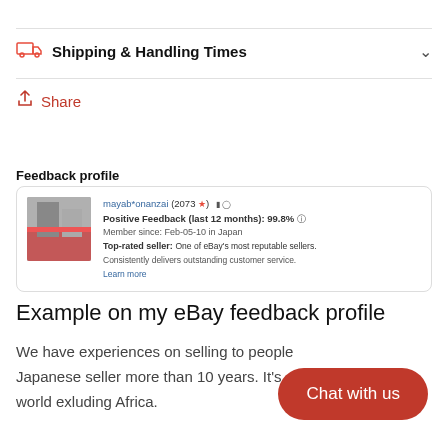Shipping & Handling Times
Share
Feedback profile
[Figure (screenshot): eBay feedback profile card showing user mayab*onanzai (2073 feedback), Positive Feedback (last 12 months): 99.8%, Member since Feb-05-10 in Japan, Top-rated seller: One of eBay's most reputable sellers. Consistently delivers outstanding customer service. Learn more.]
Example on my eBay feedback profile
We have experiences on selling to people Japanese seller more than 10 years. It's world exluding Africa.